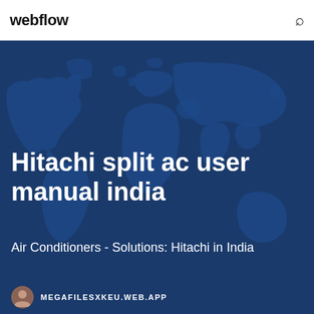webflow
Hitachi split ac user manual india
Air Conditioners - Solutions: Hitachi in India
MEGAFILESXKEU.WEB.APP